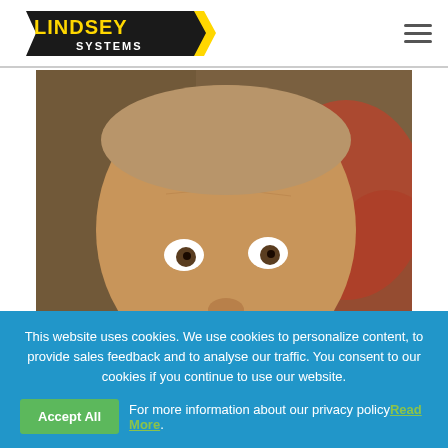[Figure (logo): Lindsey Systems logo with yellow bold text LINDSEY and white text SYSTEMS on dark background]
[Figure (photo): Close-up photo of an older man with wide surprised eyes and light brown/graying hair against a blurred colorful background]
This website uses cookies. We use cookies to personalize content, to provide sales feedback and to analyse our traffic. You consent to our cookies if you continue to use our website.
For more information about our privacy policy Read More.